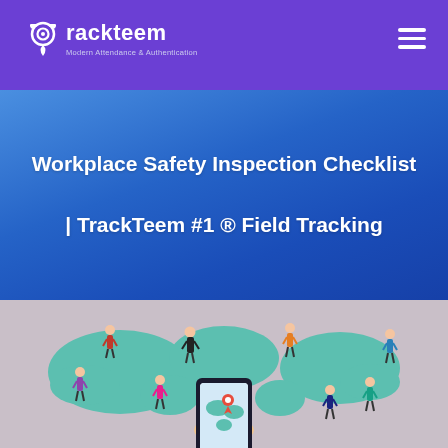Trackteem — Modern Attendance & Authentication
Workplace Safety Inspection Checklist | TrackTeem #1 ® Field Tracking
[Figure (illustration): Illustration of people standing on a world map with location pins, with a hand holding a smartphone showing a map with a location marker, representing field tracking and global workforce management.]